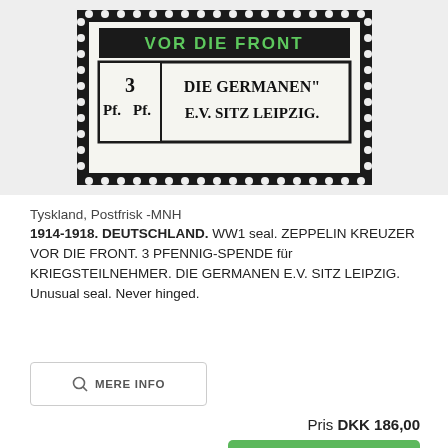[Figure (photo): Close-up photo of a vintage German WWI stamp/seal showing '3 Pf.' denomination with text 'DIE GERMANEN E.V. SITZ LEIPZIG.' in a black-bordered frame with perforated edges on dark background. Green text at top reads 'VOR DIE FRONT'.]
Tyskland, Postfrisk -MNH
1914-1918. DEUTSCHLAND. WW1 seal. ZEPPELIN KREUZER VOR DIE FRONT. 3 PFENNIG-SPENDE für KRIEGSTEILNEHMER. DIE GERMANEN E.V. SITZ LEIPZIG. Unusual seal. Never hinged.
MERE INFO
Pris DKK 186,00
Læg i kurv
[Figure (photo): Partial view of another vintage stamp at the bottom of the page, showing perforated edges and partial text.]